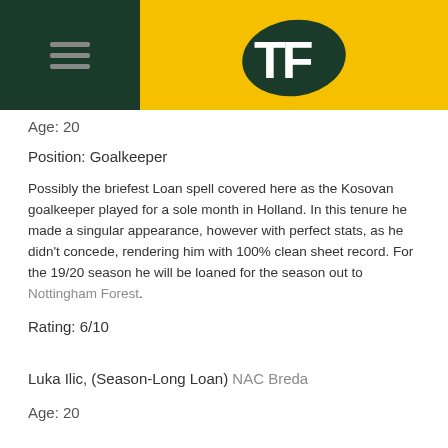TF (logo)
Age: 20
Position: Goalkeeper
Possibly the briefest Loan spell covered here as the Kosovan goalkeeper played for a sole month in Holland. In this tenure he made a singular appearance, however with perfect stats, as he didn't concede, rendering him with 100% clean sheet record. For the 19/20 season he will be loaned for the season out to Nottingham Forest.
Rating: 6/10
Luka Ilic, (Season-Long Loan) NAC Breda
Age: 20